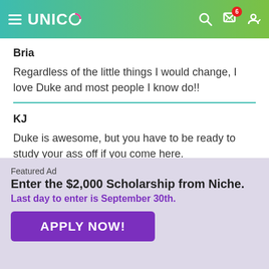UNIGO
Bria
Regardless of the little things I would change, I love Duke and most people I know do!!
KJ
Duke is awesome, but you have to be ready to study your ass off if you come here.
Featured Ad
Enter the $2,000 Scholarship from Niche.
Last day to enter is September 30th.
APPLY NOW!